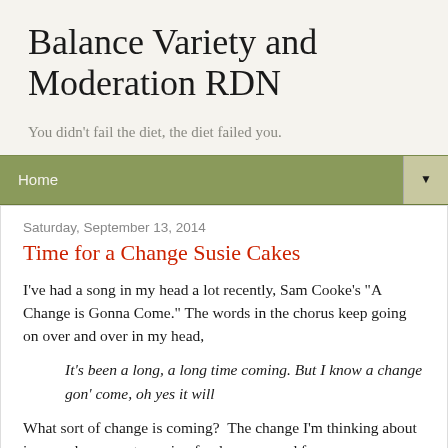Balance Variety and Moderation RDN
You didn't fail the diet, the diet failed you.
Home
Saturday, September 13, 2014
Time for a Change Susie Cakes
I've had a song in my head a lot recently, Sam Cooke's "A Change is Gonna Come." The words in the chorus keep going on over and over in my head,
It's been a long, a long time coming. But I know a change gon' come, oh yes it will
What sort of change is coming?  The change I'm thinking about is one where we stop using food as a reward for our